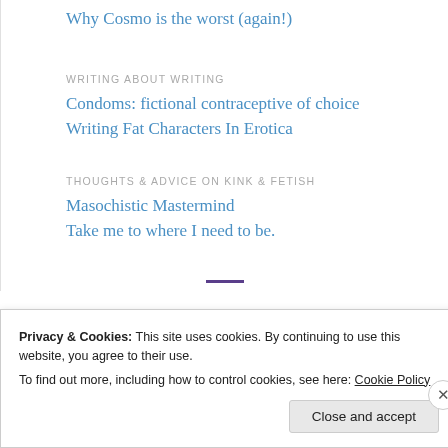Why Cosmo is the worst (again!)
WRITING ABOUT WRITING
Condoms: fictional contraceptive of choice
Writing Fat Characters In Erotica
THOUGHTS & ADVICE ON KINK & FETISH
Masochistic Mastermind
Take me to where I need to be.
Privacy & Cookies: This site uses cookies. By continuing to use this website, you agree to their use.
To find out more, including how to control cookies, see here: Cookie Policy
Close and accept